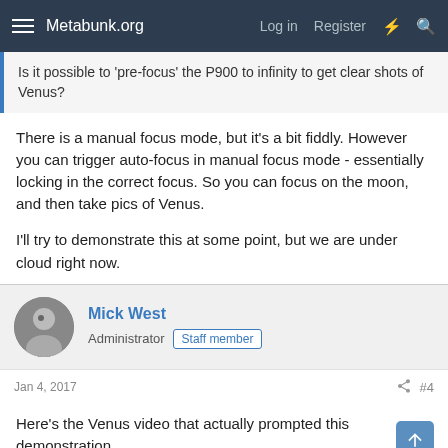Metabunk.org  Log in  Register
Is it possible to 'pre-focus' the P900 to infinity to get clear shots of Venus?
There is a manual focus mode, but it's a bit fiddly. However you can trigger auto-focus in manual focus mode - essentially locking in the correct focus. So you can focus on the moon, and then take pics of Venus.

I'll try to demonstrate this at some point, but we are under cloud right now.
Mick West
Administrator  Staff member
Jan 4, 2017  #4
Here's the Venus video that actually prompted this demonstration.